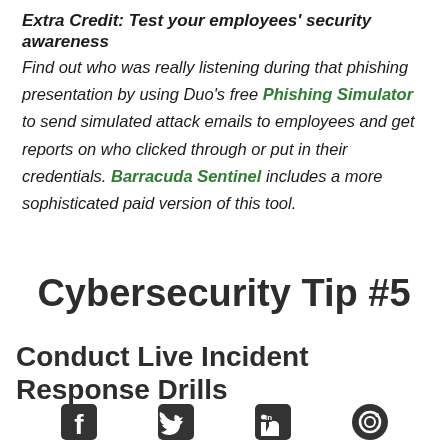Extra Credit: Test your employees' security awareness
Find out who was really listening during that phishing presentation by using Duo's free Phishing Simulator to send simulated attack emails to employees and get reports on who clicked through or put in their credentials. Barracuda Sentinel includes a more sophisticated paid version of this tool.
Cybersecurity Tip #5
Conduct Live Incident Response Drills
[Figure (other): Social media icons: Facebook, Twitter, LinkedIn, and one more at bottom of page]